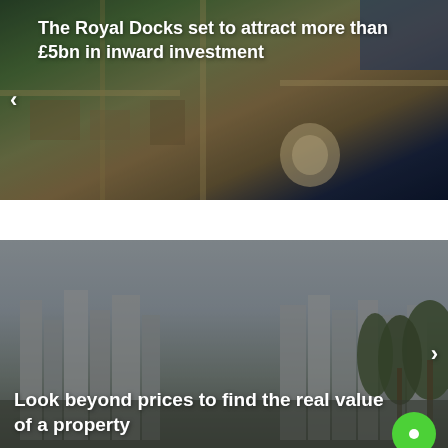[Figure (photo): Aerial view of urban development area with a distinctive round building, roads, and waterfront. Overlaid with white bold text: 'The Royal Docks set to attract more than £5bn in inward investment' and a left navigation arrow.]
[Figure (photo): City skyline with tall modern buildings and palm trees in the foreground, tinted overlay. Overlaid with white bold text: 'Look beyond prices to find the real value of a property' and a right navigation arrow. Green chat bubble icon in bottom-right corner.]